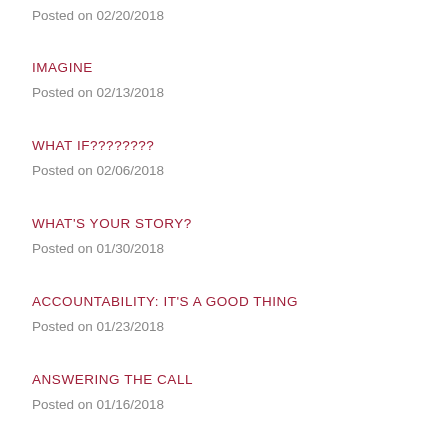Posted on 02/20/2018
IMAGINE
Posted on 02/13/2018
WHAT IF????????
Posted on 02/06/2018
WHAT'S YOUR STORY?
Posted on 01/30/2018
ACCOUNTABILITY: IT'S A GOOD THING
Posted on 01/23/2018
ANSWERING THE CALL
Posted on 01/16/2018